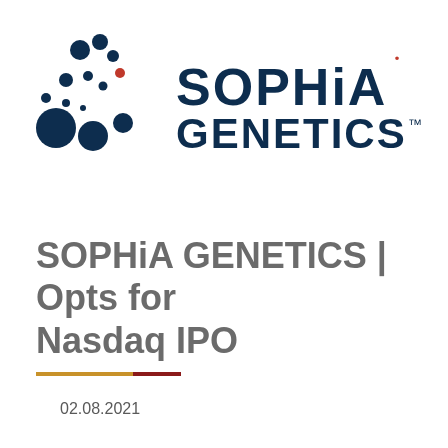[Figure (logo): SOPHiA GENETICS logo with circular dot graphic on left and text SOPHiA GENETICS with TM mark on right]
SOPHiA GENETICS | Opts for Nasdaq IPO
02.08.2021